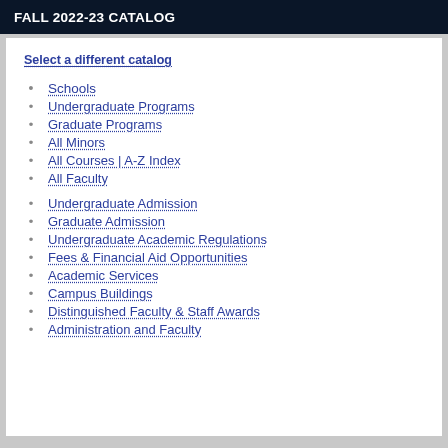FALL 2022-23 CATALOG
Select a different catalog
Schools
Undergraduate Programs
Graduate Programs
All Minors
All Courses | A-Z Index
All Faculty
Undergraduate Admission
Graduate Admission
Undergraduate Academic Regulations
Fees & Financial Aid Opportunities
Academic Services
Campus Buildings
Distinguished Faculty & Staff Awards
Administration and Faculty